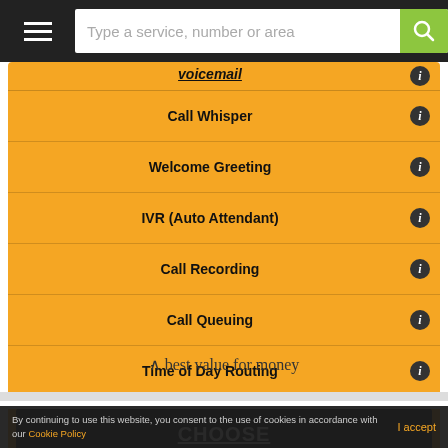Type a service, number or area
Call Whisper
Welcome Greeting
IVR (Auto Attendant)
Call Recording
Call Queuing
Time of Day Routing
CHOOSE
^ best value for money
About Virtual Phone
Numbers in the 01373
By continuing to use this website, you consent to the use of cookies in accordance with our Cookie Policy